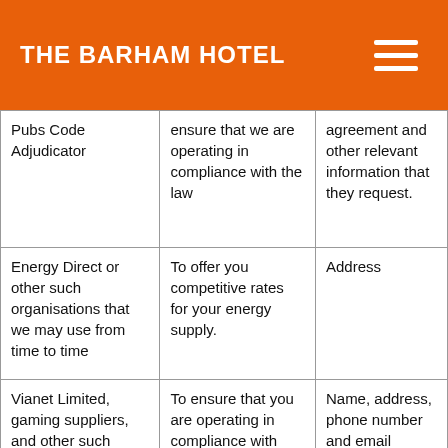THE BARHAM HOTEL
| Pubs Code Adjudicator | ensure that we are operating in compliance with the law | agreement and other relevant information that they request. |
| Energy Direct or other such organisations that we may use from time to time | To offer you competitive rates for your energy supply. | Address |
| Vianet Limited, gaming suppliers, and other such organisations that we may use from | To ensure that you are operating in compliance with | Name, address, phone number and email address |